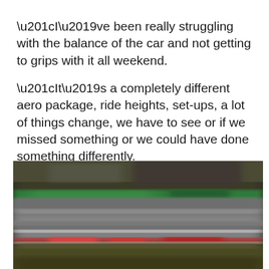“I’ve been really struggling with the balance of the car and not getting to grips with it all weekend.
“It’s a completely different aero package, ride heights, set-ups, a lot of things change, we have to see or if we missed something or we could have done something differently.
[Figure (photo): Blurred motion photograph of a Formula 1 racing car on track, showing motion blur with green, grey, red and brown colors suggesting high speed movement past trackside barriers and grass.]